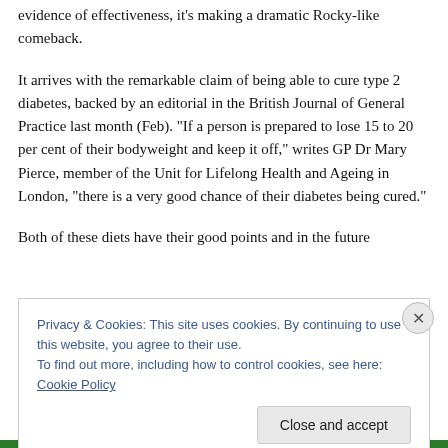evidence of effectiveness, it's making a dramatic Rocky-like comeback.
It arrives with the remarkable claim of being able to cure type 2 diabetes, backed by an editorial in the British Journal of General Practice last month (Feb). “If a person is prepared to lose 15 to 20 per cent of their bodyweight and keep it off,” writes GP Dr Mary Pierce, member of the Unit for Lifelong Health and Ageing in London, “there is a very good chance of their diabetes being cured.”
Both of these diets have their good points and in the future
Privacy & Cookies: This site uses cookies. By continuing to use this website, you agree to their use.
To find out more, including how to control cookies, see here: Cookie Policy